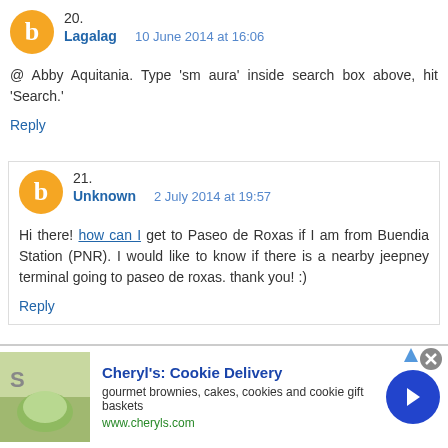20. Lagalag  10 June 2014 at 16:06
@ Abby Aquitania. Type 'sm aura' inside search box above, hit 'Search.'
Reply
21. Unknown  2 July 2014 at 19:57
Hi there! how can I get to Paseo de Roxas if I am from Buendia Station (PNR). I would like to know if there is a nearby jeepney terminal going to paseo de roxas. thank you! :)
Reply
[Figure (infographic): Advertisement for Cheryl's Cookie Delivery showing a photo of baked goods, text 'Cheryl's: Cookie Delivery', 'gourmet brownies, cakes, cookies and cookie gift baskets', 'www.cheryls.com', with a blue arrow button and close X button.]